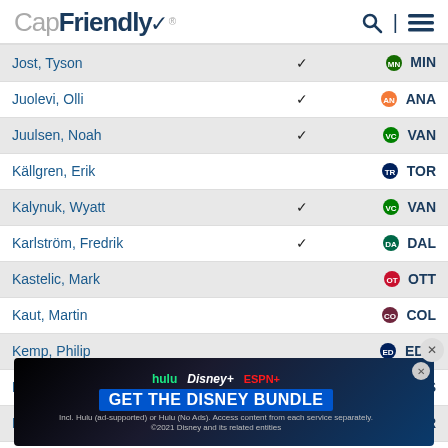CapFriendly
| Player | ✓ | Team |
| --- | --- | --- |
| Jost, Tyson | ✓ | MIN |
| Juolevi, Olli | ✓ | ANA |
| Juulsen, Noah | ✓ | VAN |
| Källgren, Erik |  | TOR |
| Kalynuk, Wyatt | ✓ | VAN |
| Karlström, Fredrik | ✓ | DAL |
| Kastelic, Mark |  | OTT |
| Kaut, Martin |  | COL |
| Kemp, Philip |  | EDM |
| Keyser, Kyle |  | BOS |
| Khodorenko, Patrick |  | NYR |
| Kindopp, Bryce |  | ANA |
| Kirkland, ... |  | ANA |
| Knight, Spencer |  | FLA |
[Figure (screenshot): Disney Bundle advertisement banner with Hulu, Disney+, ESPN+ logos and 'GET THE DISNEY BUNDLE' text]